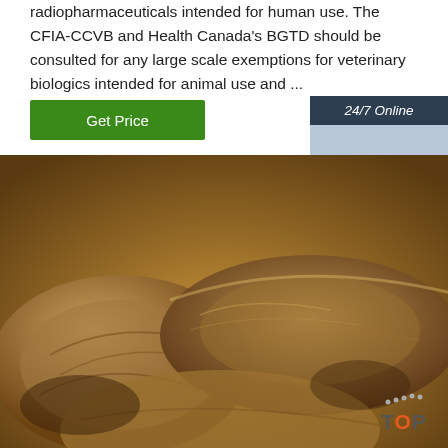radiopharmaceuticals intended for human use. The CFIA-CCVB and Health Canada's BGTD should be consulted for any large scale exemptions for veterinary biologics intended for animal use and ...
[Figure (other): Green 'Get Price' button]
[Figure (other): 24/7 Online chat widget with photo of woman wearing headset and orange QUOTATION button]
[Figure (photo): Close-up photo of dried mushrooms or herb slices in brown/golden colour, filling lower portion of page]